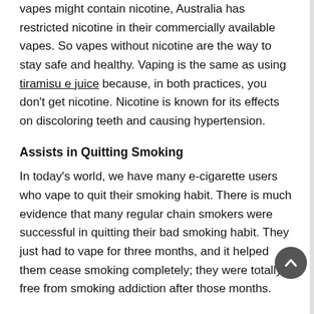vapes might contain nicotine, Australia has restricted nicotine in their commercially available vapes. So vapes without nicotine are the way to stay safe and healthy. Vaping is the same as using tiramisu e juice because, in both practices, you don't get nicotine. Nicotine is known for its effects on discoloring teeth and causing hypertension.
Assists in Quitting Smoking
In today's world, we have many e-cigarette users who vape to quit their smoking habit. There is much evidence that many regular chain smokers were successful in quitting their bad smoking habit. They just had to vape for three months, and it helped them cease smoking completely; they were totally free from smoking addiction after those months.
Wide Range of Flavors
As previously said, there are various flavors available in the vape, whereas cigarettes only have tobacco. The vape juice is now accessible in many different flavors to